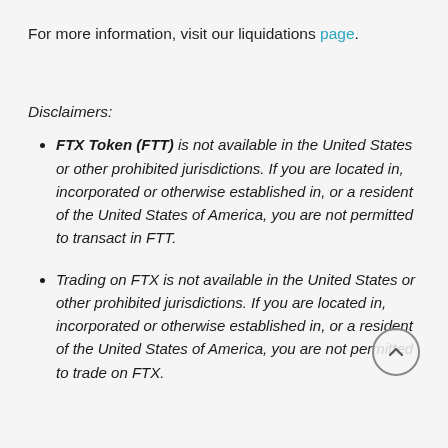For more information, visit our liquidations page.
Disclaimers:
FTX Token (FTT) is not available in the United States or other prohibited jurisdictions. If you are located in, incorporated or otherwise established in, or a resident of the United States of America, you are not permitted to transact in FTT.
Trading on FTX is not available in the United States or other prohibited jurisdictions. If you are located in, incorporated or otherwise established in, or a resident of the United States of America, you are not permitted to trade on FTX.